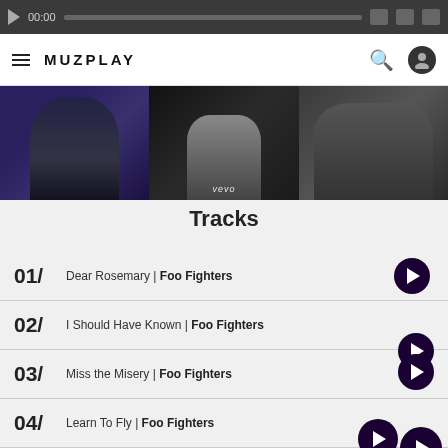[Figure (screenshot): Media player bar at top with play button, 00:00 timestamp, seek bar, and icons]
MUZPLAY
[Figure (photo): Strip of three music video thumbnails side by side, middle shows a character with a vevo watermark]
Tracks
01/ Dear Rosemary | Foo Fighters
02/ I Should Have Known | Foo Fighters
03/ Miss the Misery | Foo Fighters
04/ Learn To Fly | Foo Fighters